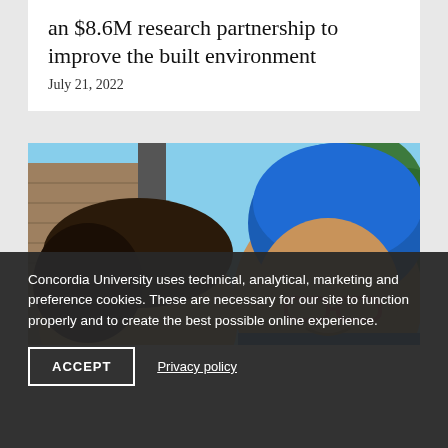an $8.6M research partnership to improve the built environment
July 21, 2022
[Figure (photo): Two women photographed outdoors in sunlight. One has dark hair, the other wears a blue hijab and red-framed glasses. Brick building and trees visible in background.]
Concordia University uses technical, analytical, marketing and preference cookies. These are necessary for our site to function properly and to create the best possible online experience.
ACCEPT
Privacy policy